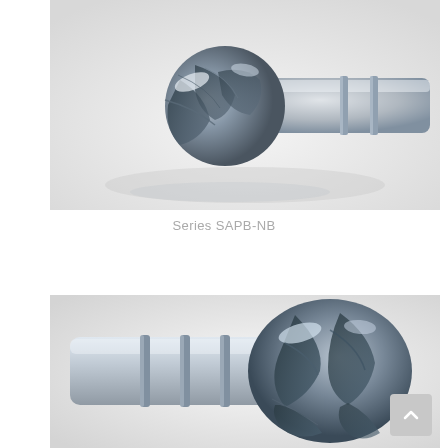[Figure (photo): Close-up photograph of a Series SAPB-NB ball nose end mill cutting tool with multiple flutes, showing the coated tip in dark gray/black against a light background. The tool is oriented horizontally with the cutting end on the left.]
Series SAPB-NB
[Figure (photo): Close-up photograph of a ball nose end mill cutting tool viewed from a front-angled perspective, showing the multi-flute cutting head with dark coating against a light background. The tool shank is visible extending to the left.]